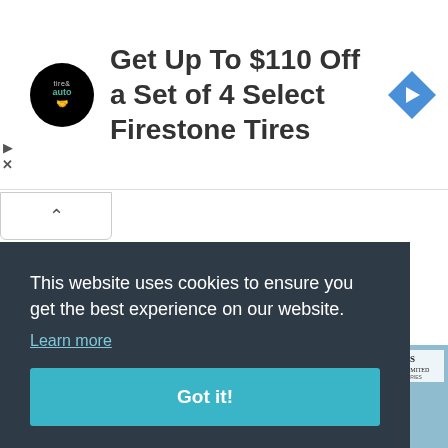[Figure (infographic): Advertisement banner for Firestone Tires with circular tire & auto logo, text 'Get Up To $110 Off a Set of 4 Select Firestone Tires', and blue diamond arrow icon]
2. Tracey Boakye
[Figure (photo): Partial view of a person in a vehicle interior, car dashboard and seats visible]
This website uses cookies to ensure you get the best experience on our website.
Learn more
Got it!